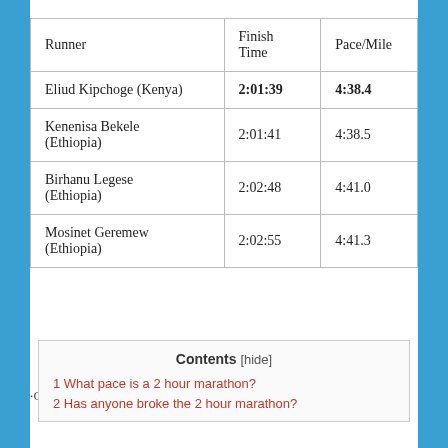| Runner | Finish Time | Pace/Mile |
| --- | --- | --- |
| Eliud Kipchoge (Kenya) | 2:01:39 | 4:38.4 |
| Kenenisa Bekele (Ethiopia) | 2:01:41 | 4:38.5 |
| Birhanu Legese (Ethiopia) | 2:02:48 | 4:41.0 |
| Mosinet Geremew (Ethiopia) | 2:02:55 | 4:41.3 |
·Oct 3, 2021
Contents [hide]
1 What pace is a 2 hour marathon?
2 Has anyone broke the 2 hour marathon?